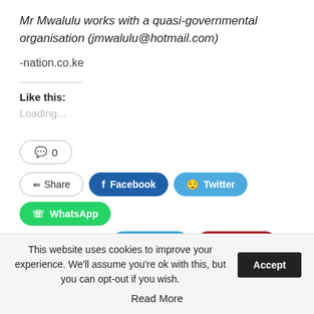Mr Mwalulu works with a quasi-governmental organisation (jmwalulu@hotmail.com)
-nation.co.ke
Like this:
Loading...
💬 0
Share  Facebook  Twitter  WhatsApp  Telegram  Pinterest
This website uses cookies to improve your experience. We'll assume you're ok with this, but you can opt-out if you wish.  Accept  Read More